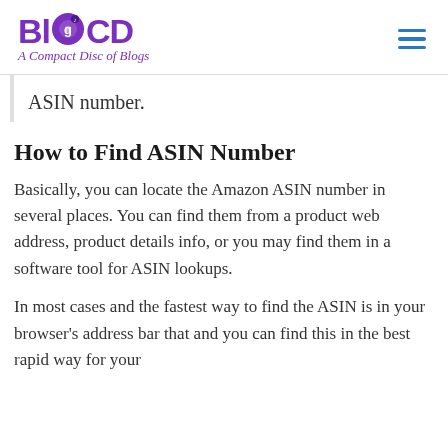BlogCD – A Compact Disc of Blogs
ASIN number.
How to Find ASIN Number
Basically, you can locate the Amazon ASIN number in several places. You can find them from a product web address, product details info, or you may find them in a software tool for ASIN lookups.
In most cases and the fastest way to find the ASIN is in your browser's address bar that and you can find this in the best rapid way for your